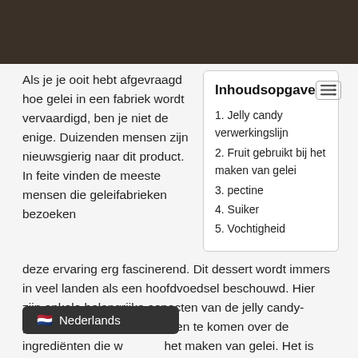[Figure (photo): Dark background hero image, appears to be a food/candy related photo]
Als je je ooit hebt afgevraagd hoe gelei in een fabriek wordt vervaardigd, ben je niet de enige. Duizenden mensen zijn nieuwsgierig naar dit product. In feite vinden de meeste mensen die geleifabrieken bezoeken
| Inhoudsopgave |
| --- |
| 1. Jelly candy verwerkingslijn |
| 2. Fruit gebruikt bij het maken van gelei |
| 3. pectine |
| 4. Suiker |
| 5. Vochtigheid |
deze ervaring erg fascinerend. Dit dessert wordt immers in veel landen als een hoofdvoedsel beschouwd. Hier zijn enkele belangrijke aspecten van de jelly candy-productielijn. Blijf weten te komen over de ingrediënten die w het maken van gelei. Het is geen
Nederlands